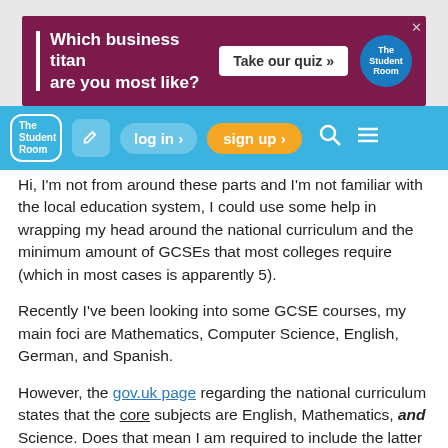[Figure (screenshot): Advertisement banner: 'Which business titan are you most like? Take our quiz »' with The Student Room logo]
The Student Room | log in › | sign up › | [search] [menu]
Hi, I'm not from around these parts and I'm not familiar with the local education system, I could use some help in wrapping my head around the national curriculum and the minimum amount of GCSEs that most colleges require (which in most cases is apparently 5).
Recently I've been looking into some GCSE courses, my main foci are Mathematics, Computer Science, English, German, and Spanish.
However, the gov.uk page regarding the national curriculum states that the core subjects are English, Mathematics, and Science. Does that mean I am required to include the latter (or any combination of Chemistry, Biology, and Physics) in my agenda should I look forward to enrol at a college in the future?